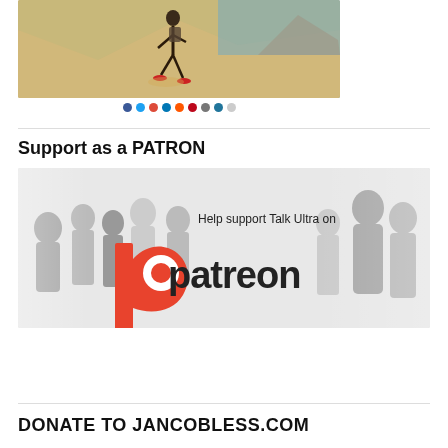[Figure (photo): Ultra runner racing down a sandy desert dune near water, with social sharing icons (Facebook, Twitter, Google+, LinkedIn, Pinterest, Email, WordPress, Share) shown below the image as colored circles]
[Figure (illustration): Patreon promotional banner showing crowd silhouettes in grayscale background with text 'Help support Talk Ultra on' and the Patreon logo (red P icon with 'patreon' wordmark in dark text)]
Support as a PATRON
DONATE TO JANCOBLESS.COM